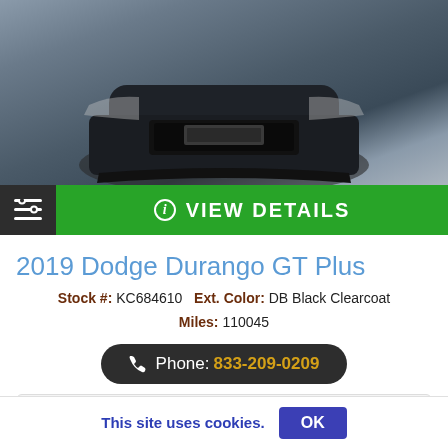[Figure (photo): Front bumper close-up of a dark/black Dodge Durango vehicle]
i  VIEW DETAILS
2019 Dodge Durango GT Plus
Stock #: KC684610   Ext. Color: DB Black Clearcoat
Miles: 110045
Phone: 833-209-0209
CITY 19   HWY 26
This site uses cookies.  OK